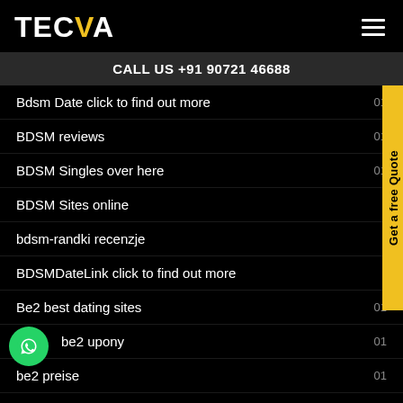TECVA
CALL US +91 90721 46688
Bdsm Date click to find out more  01
BDSM reviews  01
BDSM Singles over here  01
BDSM Sites online
bdsm-randki recenzje
BDSMDateLink click to find out more
Be2 best dating sites  01
be2 upony  01
be2 preise  01